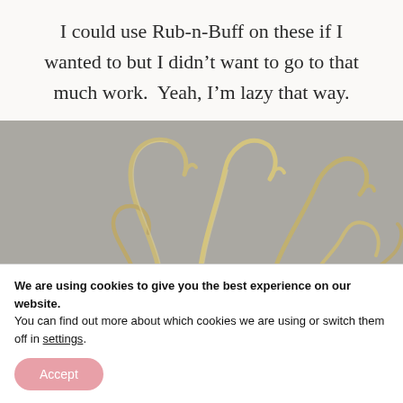I could use Rub-n-Buff on these if I wanted to but I didn't want to go to that much work.  Yeah, I'm lazy that way.
[Figure (photo): Close-up photograph of multiple gold/metallic wire hooks or hangers with curved tops, arranged in a row against a grey background.]
We are using cookies to give you the best experience on our website.
You can find out more about which cookies we are using or switch them off in settings.